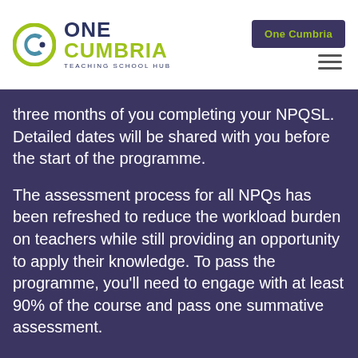[Figure (logo): One Cumbria Teaching School Hub logo with circular icon and text]
One Cumbria
three months of you completing your NPQSL. Detailed dates will be shared with you before the start of the programme.
The assessment process for all NPQs has been refreshed to reduce the workload burden on teachers while still providing an opportunity to apply their knowledge. To pass the programme, you'll need to engage with at least 90% of the course and pass one summative assessment.